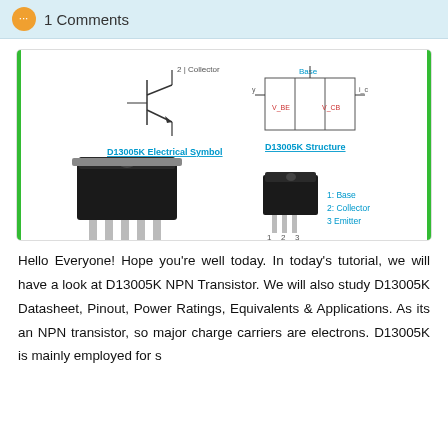1 Comments
[Figure (photo): D13005K NPN transistor diagram showing electrical symbol and structure schematic on top, and two physical photos of the TO-220 package transistor component below, with pin labels: 1: Base, 2: Collector, 3: Emitter]
Hello Everyone! Hope you're well today. In today's tutorial, we will have a look at D13005K NPN Transistor. We will also study D13005K Datasheet, Pinout, Power Ratings, Equivalents &amp; Applications. As its an NPN transistor, so major charge carriers are electrons. D13005K is mainly employed for s